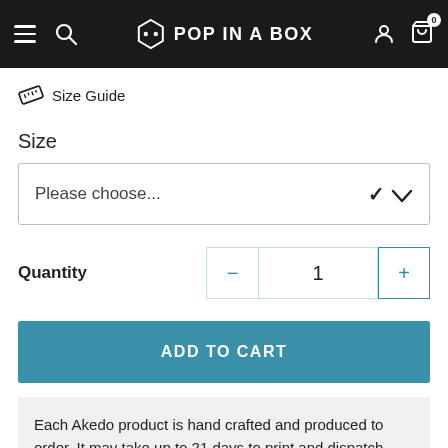Pop In A Box – header with hamburger menu, search, logo, user icon, cart (0)
Size Guide
Size
Please choose...
Quantity  1
ADD TO CART
Each Akedo product is hand crafted and produced to order. It may take up to 21 days to print and dispatch your Akedo items.